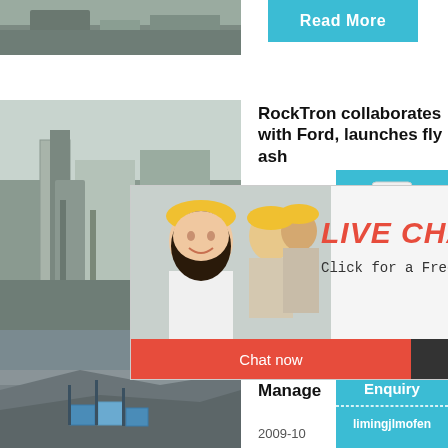[Figure (photo): Industrial facility top strip photo (partial, top of page)]
Read More
[Figure (photo): Industrial silo/facility building photo]
RockTron collaborates with Ford, launches fly ash
[Figure (screenshot): Live chat popup overlay with workers in hard hats, LIVE CHAT title, Click for a Free Consultation, Chat now and Chat later buttons]
[Figure (photo): Mining/quarry site photo (bottom left)]
Coal Ash Characteristics & Management
2009-10
[Figure (screenshot): Right sidebar with cone crusher machine image, Click me to chat>>, Enquiry, limingjlmofen buttons on blue background]